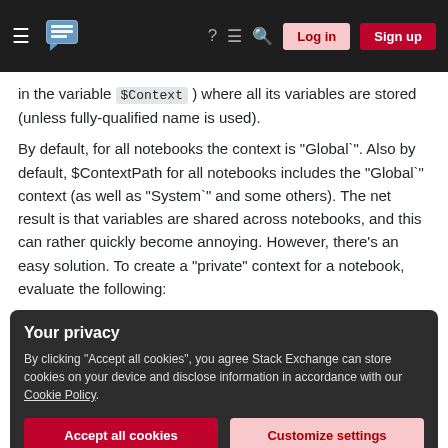Stack Exchange navigation bar with hamburger menu, logo, help, chat, search icons, Log in and Sign up buttons
in the variable $Context ) where all its variables are stored (unless fully-qualified name is used).
By default, for all notebooks the context is "Global`". Also by default, $ContextPath for all notebooks includes the "Global`" context (as well as "System`" and some others). The net result is that variables are shared across notebooks, and this can rather quickly become annoying. However, there's an easy solution. To create a "private" context for a notebook, evaluate the following:
Your privacy
By clicking "Accept all cookies", you agree Stack Exchange can store cookies on your device and disclose information in accordance with our Cookie Policy.
ContextPath (try evaluating $ContextPath before